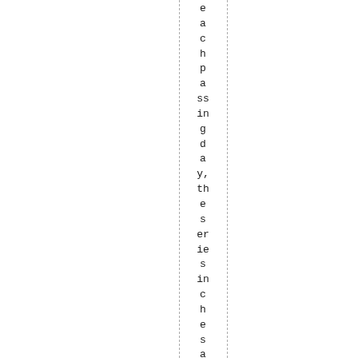each passing day, the series inches away from